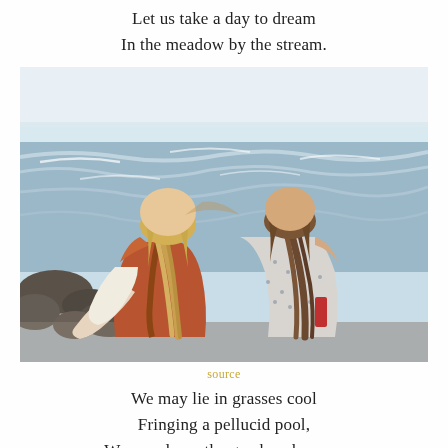Let us take a day to dream
In the meadow by the stream.
[Figure (photo): Two young women sitting together from behind, looking out at the ocean/sea with waves and rocks, both with long braided hair, one wearing a rust/brown outfit and the other a patterned vest]
source
We may lie in grasses cool
Fringing a pellucid pool,
We may learn the gay brook-runes
Sung on amber afternoons,